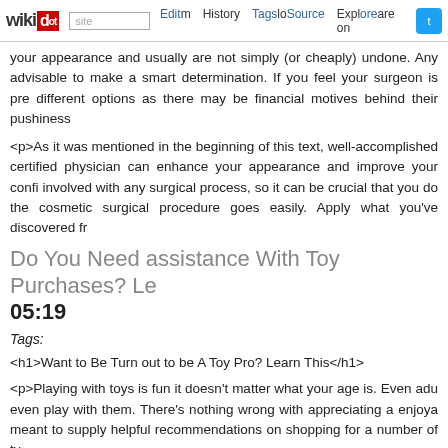wikidot | site | Edit | History | Tags | Source | Explore | Share on Twitter
your appearance and usually are not simply (or cheaply) undone. Any advisable to make a smart determination. If you feel your surgeon is pre different options as there may be financial motives behind their pushiness
<p>As it was mentioned in the beginning of this text, well-accomplished certified physician can enhance your appearance and improve your confi involved with any surgical process, so it can be crucial that you do the cosmetic surgical procedure goes easily. Apply what you've discovered fr
Do You Need assistance With Toy Purchases? Le 05:19
Tags:
<h1>Want to Be Turn out to be A Toy Pro? Learn This</h1>
<p>Playing with toys is fun it doesn't matter what your age is. Even adu even play with them. There's nothing wrong with appreciating a enjoya meant to supply helpful recommendations on shopping for a number of ty
<p>Consider the age of your little one when buying new toys. Small toys a choking hazard for babies and toddlers who naturally put every part o challenging without being to difficult. Toys which are meant for older youn </p>
<p>If Haven't got A lot Information On Toys? Read This got acquired a n to pick up some toys that enable for social play. These might be Tinker To completely different board video games out there. These toys will help co